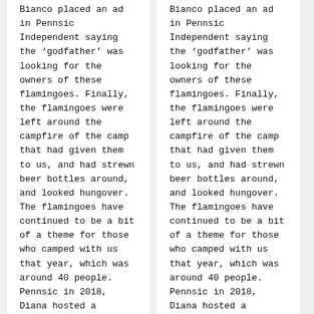Bianco placed an ad in Pennsic Independent saying the 'godfather' was looking for the owners of these flamingoes. Finally, the flamingoes were left around the campfire of the camp that had given them to us, and had strewn beer bottles around, and looked hungover. The flamingoes have continued to be a bit of a theme for those who camped with us that year, which was around 40 people.  Pennsic in 2018, Diana hosted a Flamingo Ball in the dance tent. Samuel di
Bianco placed an ad in Pennsic Independent saying the 'godfather' was looking for the owners of these flamingoes. Finally, the flamingoes were left around the campfire of the camp that had given them to us, and had strewn beer bottles around, and looked hungover. The flamingoes have continued to be a bit of a theme for those who camped with us that year, which was around 40 people.  Pennsic in 2018, Diana hosted a Flamingo Ball in the dance tent. Samuel di